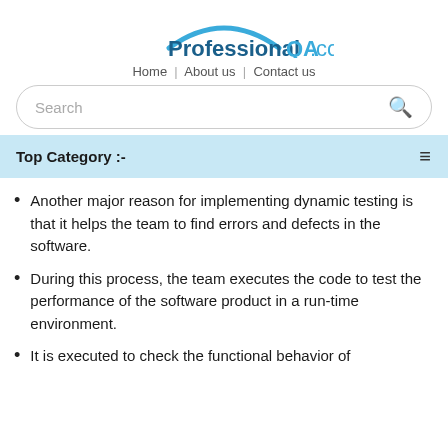[Figure (logo): ProfessionalQA.com logo with blue arc and bold text]
Home | About us | Contact us
[Figure (screenshot): Search input box with magnifying glass icon]
Top Category :-
Another major reason for implementing dynamic testing is that it helps the team to find errors and defects in the software.
During this process, the team executes the code to test the performance of the software product in a run-time environment.
It is executed to check the functional behavior of